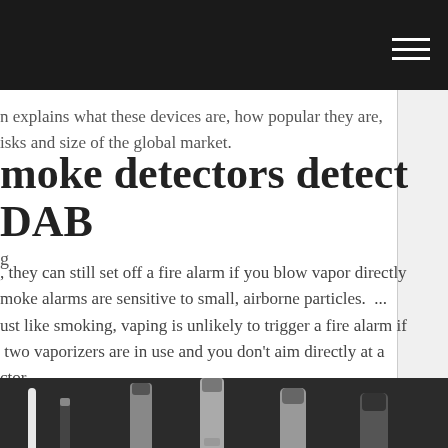n explains what these devices are, how popular they are, isks and size of the global market.
moke detectors detect DAB
g
, they can still set off a fire alarm if you blow vapor directly moke alarms are sensitive to small, airborne particles. ... ust like smoking, vaping is unlikely to trigger a fire alarm if two vaporizers are in use and you don't aim directly at a ctor.
[Figure (photo): Photo showing multiple vape pens and e-cigarette devices laid on a dark surface, with a YouTube play button overlay in the lower center area.]